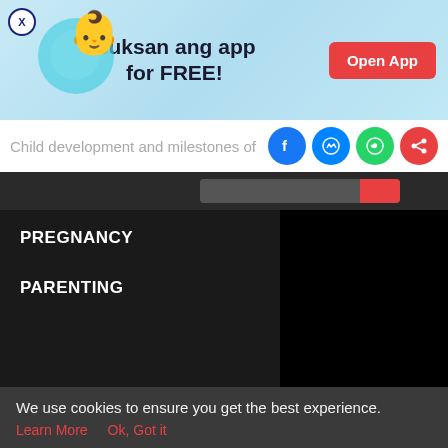[Figure (illustration): App advertisement banner with pregnant woman illustration, text 'Buksan ang app for FREE!' and red 'Open App' button]
Child development and milestones of
[Figure (infographic): Social share icons: Facebook, Messenger, WhatsApp, and share button]
[Figure (screenshot): Dark navigation bar with search area]
PREGNANCY
PARENTING
[Figure (screenshot): Bottom navigation bar with Tools, Articles, Baby feet (home), Feed, and Poll icons]
We use cookies to ensure you get the best experience.
Learn More   Ok, Got it